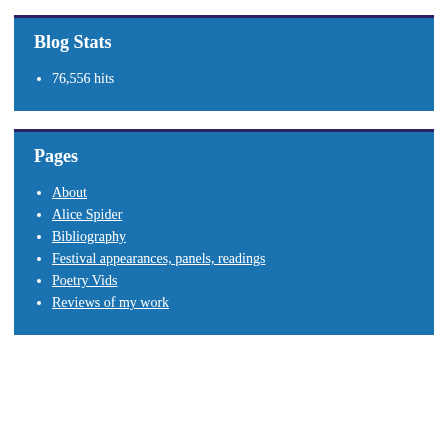Blog Stats
76,556 hits
Pages
About
Alice Spider
Bibliography
Festival appearances, panels, readings
Poetry Vids
Reviews of my work